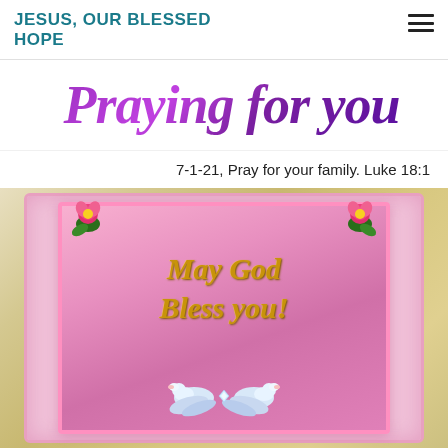JESUS, OUR BLESSED HOPE
[Figure (illustration): Stylized italic script text reading 'Praying for You' in purple gradient color on white background]
7-1-21, Pray for your family. Luke 18:1
[Figure (illustration): Decorative religious card with pink background, pink roses at top corners, gold italic script text reading 'May God Bless you!', and two white doves at the bottom, set against a golden ornate background.]